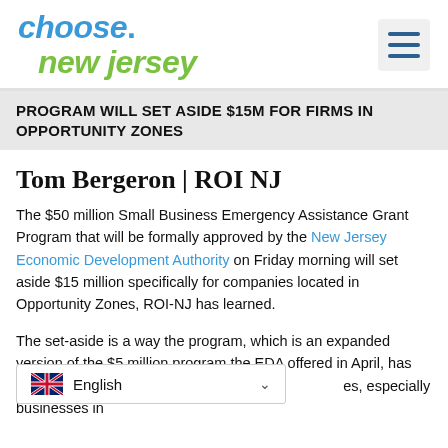choose. new jersey
PROGRAM WILL SET ASIDE $15M FOR FIRMS IN OPPORTUNITY ZONES
Tom Bergeron | ROI NJ
The $50 million Small Business Emergency Assistance Grant Program that will be formally approved by the New Jersey Economic Development Authority on Friday morning will set aside $15 million specifically for companies located in Opportunity Zones, ROI-NJ has learned.
The set-aside is a way the program, which is an expanded version of the $5 million program the EDA offered in April, has been designed to reach a far greater n                    es, especially businesses in